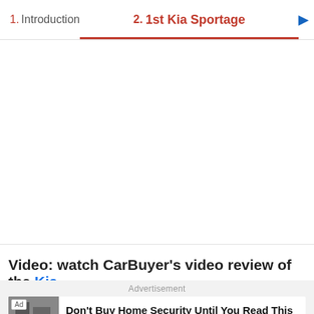1. Introduction  2. 1st Kia Sportage
[Figure (other): Empty white content area for video/article content]
Video: watch CarBuyer's video review of the Kia
Advertisement
Ad  Don't Buy Home Security Until You Read This  SimpliSafe  Learn More